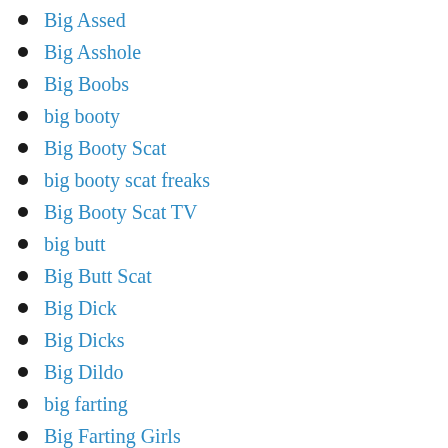Big Assed
Big Asshole
Big Boobs
big booty
Big Booty Scat
big booty scat freaks
Big Booty Scat TV
big butt
Big Butt Scat
Big Dick
Big Dicks
Big Dildo
big farting
Big Farting Girls
Big Gape
Big Like